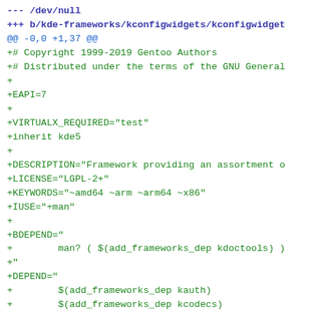--- /dev/null
+++ b/kde-frameworks/kconfigwidgets/kconfigwidget
@@ -0,0 +1,37 @@
+# Copyright 1999-2019 Gentoo Authors
+# Distributed under the terms of the GNU General
+
+EAPI=7
+
+VIRTUALX_REQUIRED="test"
+inherit kde5
+
+DESCRIPTION="Framework providing an assortment o
+LICENSE="LGPL-2+"
+KEYWORDS="~amd64 ~arm ~arm64 ~x86"
+IUSE="+man"
+
+BDEPEND="
+        man? ( $(add_frameworks_dep kdoctools) )
+"
+DEPEND="
+        $(add_frameworks_dep kauth)
+        $(add_frameworks_dep kcodecs)